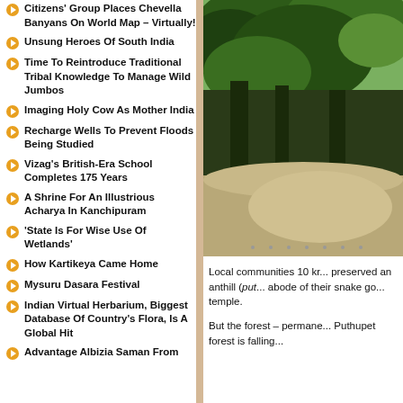Citizens' Group Places Chevella Banyans On World Map – Virtually!
Unsung Heroes Of South India
Time To Reintroduce Traditional Tribal Knowledge To Manage Wild Jumbos
Imaging Holy Cow As Mother India
Recharge Wells To Prevent Floods Being Studied
Vizag's British-Era School Completes 175 Years
A Shrine For An Illustrious Acharya In Kanchipuram
'State Is For Wise Use Of Wetlands'
How Kartikeya Came Home
Mysuru Dasara Festival
Indian Virtual Herbarium, Biggest Database Of Country's Flora, Is A Global Hit
Advantage Albizia Saman From
[Figure (photo): Photograph of a forest/tree area with green foliage and a dirt road or path visible.]
Local communities 10 kr... preserved an anthill (put... abode of their snake go... temple.
But the forest – permane... Puthupet forest is falling...